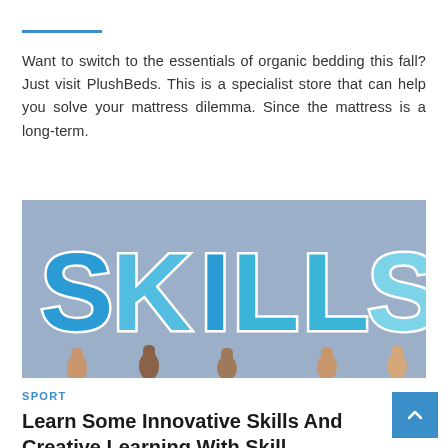Want to switch to the essentials of organic bedding this fall? Just visit PlushBeds. This is a specialist store that can help you solve your mattress dilemma. Since the mattress is a long-term.
[Figure (photo): Multiple hands holding up large blue 3D letters spelling 'SKILLS' against a grey background.]
SPORT
Learn Some Innovative Skills And Creative Learning With Skills...